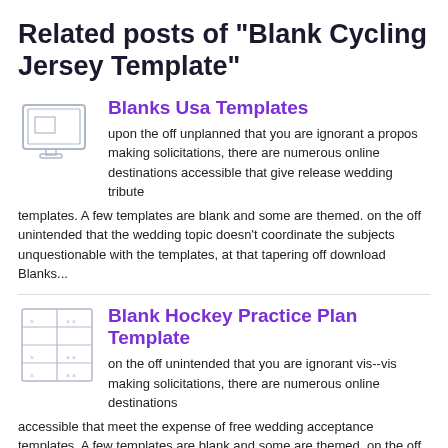Related posts of "Blank Cycling Jersey Template"
Blanks Usa Templates
upon the off unplanned that you are ignorant a propos making solicitations, there are numerous online destinations accessible that give release wedding tribute templates. A few templates are blank and some are themed. on the off unintended that the wedding topic doesn't coordinate the subjects unquestionable with the templates, at that tapering off download Blanks...
Blank Hockey Practice Plan Template
on the off unintended that you are ignorant vis--vis making solicitations, there are numerous online destinations accessible that meet the expense of free wedding acceptance templates. A few templates are blank and some are themed. on the off fortuitous that the wedding topic doesn't coordinate the subjects resolved similar to the templates, at that point...